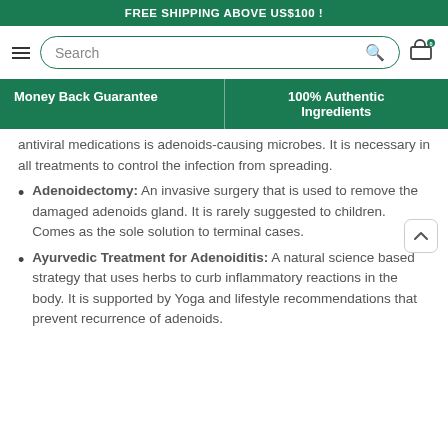FREE SHIPPING ABOVE US$100 !
[Figure (screenshot): Navigation bar with hamburger menu, search box, and cart icon with badge showing 0]
Money Back Guarantee | 100% Authentic Ingredients
antiviral medications is adenoids-causing microbes. It is necessary in all treatments to control the infection from spreading.
Adenoidectomy: An invasive surgery that is used to remove the damaged adenoids gland. It is rarely suggested to children. Comes as the sole solution to terminal cases.
Ayurvedic Treatment for Adenoiditis: A natural science based strategy that uses herbs to curb inflammatory reactions in the body. It is supported by Yoga and lifestyle recommendations that prevent recurrence of adenoids.